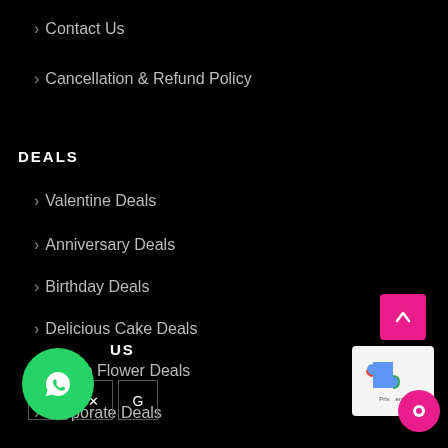Contact Us
Cancellation & Refund Policy
DEALS
Valentine Deals
Anniversary Deals
Birthday Deals
Delicious Cake Deals
Cheap Flower Deals
Corporate Deals
FOLLOW US
[Figure (logo): WhatsApp chat bubble icon, green circle]
[Figure (illustration): Social media icons: Facebook, Twitter/X, Google]
[Figure (other): Scroll to top pink button with chevron up]
[Figure (other): reCAPTCHA badge]
[Figure (other): Pink chat bubble icon]